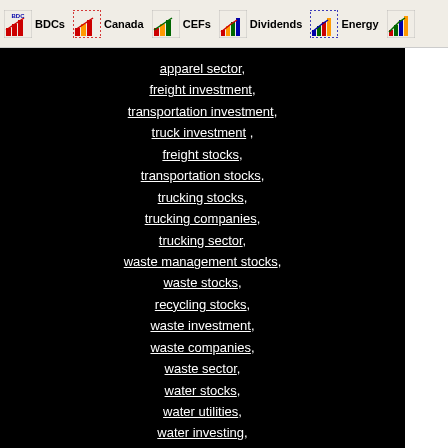BDCs | Canada | CEFs | Dividends | Energy | E...
apparel sector, freight investment, transportation investment, truck investment, freight stocks, transportation stocks, trucking stocks, trucking companies, trucking sector, waste management stocks, waste stocks, recycling stocks, waste investment, waste companies, waste sector, water stocks, water utilities, water investing, water investment, water companies, water sector
"A successful man will profit from his mistakes and try again in a different way." -
[Figure (logo): Google logo with trademark symbol]
Web   www.profitquotes.com